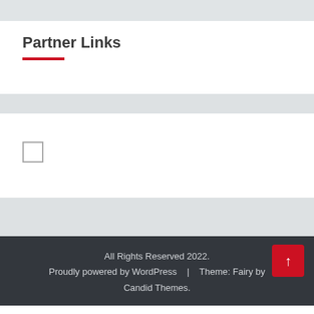Partner Links
[Figure (other): Small checkbox UI element]
All Rights Reserved 2022. Proudly powered by WordPress | Theme: Fairy by Candid Themes.